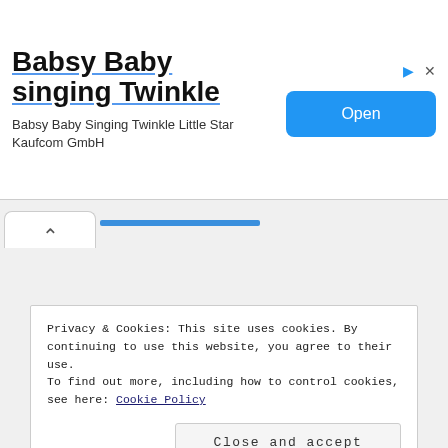[Figure (screenshot): Advertisement banner with title 'Babsy Baby singing Twinkle', subtitle 'Babsy Baby Singing Twinkle Little Star Kaufcom GmbH', and a blue 'Open' button on the right, with an ad icon (triangle) and close (x) in top right.]
[Figure (screenshot): Browser UI element: a white tab with a caret/arrow (^) pointing up, and a blue underline tab indicator to the right.]
Privacy & Cookies: This site uses cookies. By continuing to use this website, you agree to their use.
To find out more, including how to control cookies, see here: Cookie Policy
Close and accept